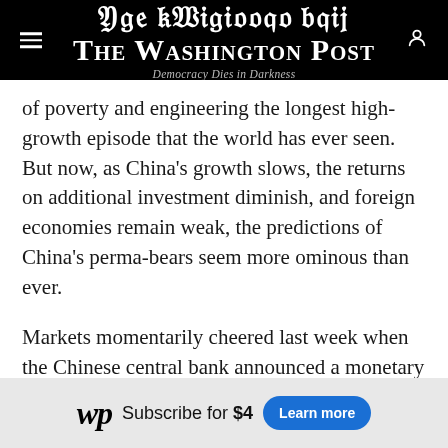The Washington Post — Democracy Dies in Darkness
of poverty and engineering the longest high-growth episode that the world has ever seen. But now, as China's growth slows, the returns on additional investment diminish, and foreign economies remain weak, the predictions of China's perma-bears seem more ominous than ever.
Markets momentarily cheered last week when the Chinese central bank announced a monetary stimulus. China cut its bank reserve requirements. It's questionable how much effect the cut will have, however, since there isn't much desire among
[Figure (other): Washington Post subscription advertisement banner: WP logo, 'Subscribe for $4', 'Learn more' button]